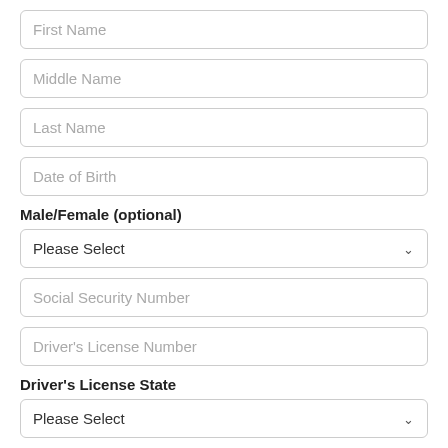First Name
Middle Name
Last Name
Date of Birth
Male/Female (optional)
Please Select
Social Security Number
Driver's License Number
Driver's License State
Please Select